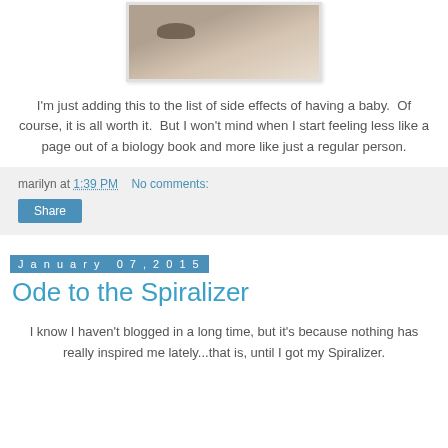[Figure (photo): Partial close-up photo of a person's face (eye and cheek area) against a light background]
I'm just adding this to the list of side effects of having a baby.  Of course, it is all worth it.  But I won't mind when I start feeling less like a page out of a biology book and more like just a regular person.
marilyn at 1:39 PM   No comments:
Share
January 07, 2015
Ode to the Spiralizer
I know I haven't blogged in a long time, but it's because nothing has really inspired me lately...that is, until I got my Spiralizer.